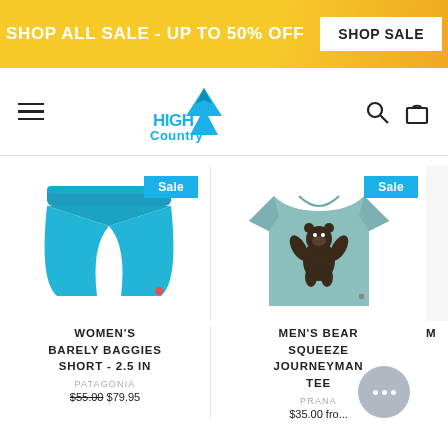SHOP ALL SALE - UP TO 50% OFF  SHOP SALE
[Figure (logo): High Country Outfitters logo in blue]
[Figure (photo): Blue women's shorts (Patagonia Barely Baggies) with Sale badge]
WOMEN'S BARELY BAGGIES SHORT - 2.5 IN
PATAGONIA
$55.00  $79.95
[Figure (photo): Light blue men's t-shirt with bear graphic (Men's Bear Squeeze Journeyman Tee) with Sale badge]
MEN'S BEAR SQUEEZE JOURNEYMAN TEE
PRANA
$35.00  fro...
MEN'S W... RNEY... TE
PRA...
$75.00  fro...